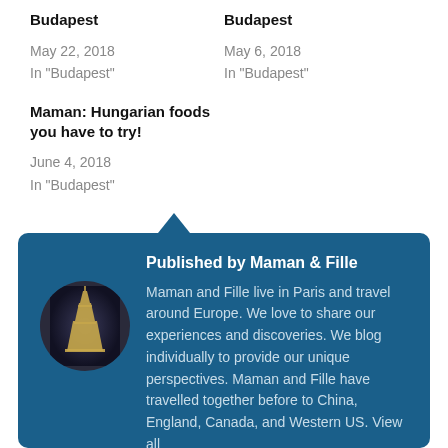Budapest
May 22, 2018
In "Budapest"
Budapest
May 6, 2018
In "Budapest"
Maman: Hungarian foods you have to try!
June 4, 2018
In "Budapest"
Published by Maman & Fille
Maman and Fille live in Paris and travel around Europe. We love to share our experiences and discoveries. We blog individually to provide our unique perspectives. Maman and Fille have travelled together before to China, England, Canada, and Western US. View all